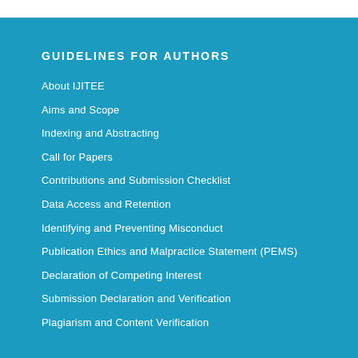GUIDELINES FOR AUTHORS
About IJITEE
Aims and Scope
Indexing and Abstracting
Call for Papers
Contributions and Submission Checklist
Data Access and Retention
Identifying and Preventing Misconduct
Publication Ethics and Malpractice Statement (PEMS)
Declaration of Competing Interest
Submission Declaration and Verification
Plagiarism and Content Verification